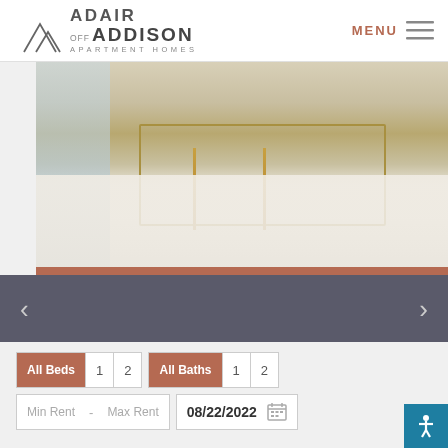[Figure (logo): Adair Off Addison Apartment Homes logo with mountain peak icon]
MENU
[Figure (photo): Interior apartment photo showing a glass coffee table with gold/brass legs on a white fluffy rug, with blue sofa visible in background]
All Beds  1  2  All Baths  1  2
Min Rent  -  Max Rent  08/22/2022